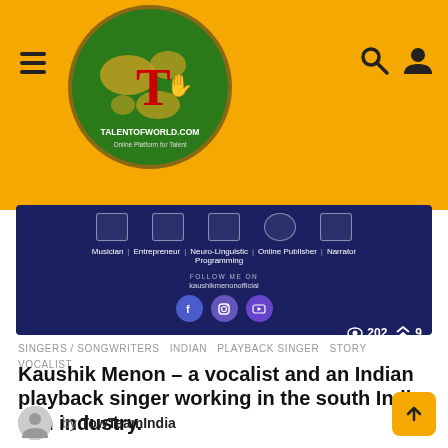[Figure (logo): Talent of World logo - green globe with T and hand, yellow background header with hamburger menu, search and user icons]
[Figure (screenshot): Blue banner showing Kaushik Menon profile categories: Musician, Entrepreneur, Neuro-Linguistic Programming, Online Publisher, Narrator. Follow me on kaushikmenonofficial with Facebook, Instagram, YouTube icons. Shows 202 views and 9 shares.]
SINGERS / SONGWRITERS  INDIAN  PLAYBACK SINGER  STORY  VOCALIST
Kaushik Menon – a vocalist and an Indian playback singer working in the south Indian film industry.
by TowTeamIndia